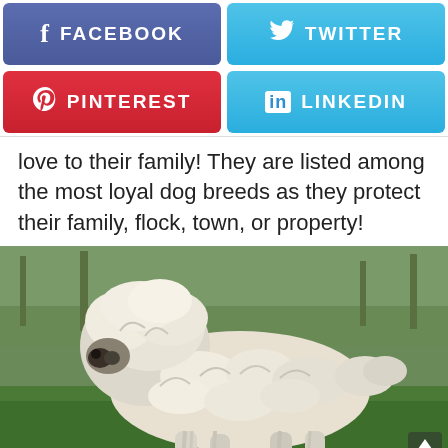[Figure (screenshot): Social media share buttons: Facebook (dark blue-purple), Twitter (light blue), Pinterest (red), LinkedIn (light blue)]
love to their family! They are listed among the most loyal dog breeds as they protect their family, flock, town, or property!
[Figure (photo): A large white fluffy Komondor dog with corded/mop-like fur standing on green grass in a park setting, looking to the left.]